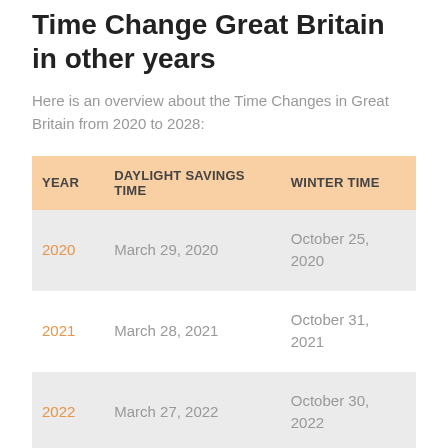Time Change Great Britain in other years
Here is an overview about the Time Changes in Great Britain from 2020 to 2028:
| YEAR | DAYLIGHT SAVINGS TIME | WINTER TIME |
| --- | --- | --- |
| 2020 | March 29, 2020 | October 25, 2020 |
| 2021 | March 28, 2021 | October 31, 2021 |
| 2022 | March 27, 2022 | October 30, 2022 |